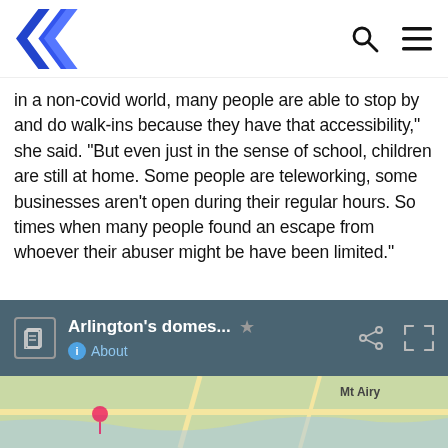Navigation bar with logo, search, and menu icons
in a non-covid world, many people are able to stop by and do walk-ins because they have that accessibility," she said. "But even just in the sense of school, children are still at home. Some people are teleworking, some businesses aren't open during their regular hours. So times when many people found an escape from whoever their abuser might be have been limited."
Fincham explained that the lack of escape creates a greater chance of violence to escalate. "When people are forced into a room together that are already not in a healthy relationship, it's only going to get worse."
[Figure (screenshot): Map card toolbar showing 'Arlington's domes...' title with About link, share and expand icons on a dark teal background, with a partial map view below]